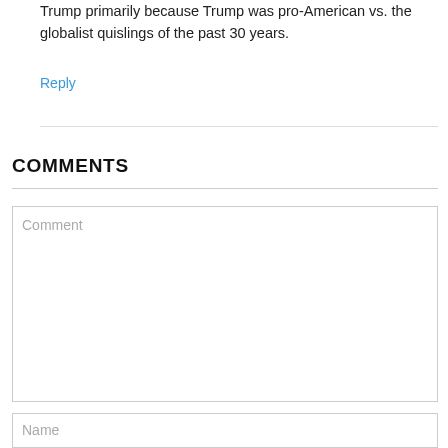Bush, Clinton and Clinton Bush Obama, but did support Trump primarily because Trump was pro-American vs. the globalist quislings of the past 30 years.
Reply
COMMENTS
Comment
Name